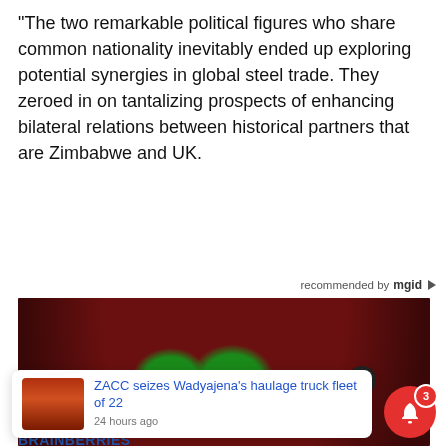“The two remarkable political figures who share common nationality inevitably ended up exploring potential synergies in global steel trade. They zeroed in on tantalizing prospects of enhancing bilateral relations between historical partners that are Zimbabwe and UK.
recommended by mgid
[Figure (photo): Close-up photo of a woman with green eyes and red nail polish, pulling a dark red fabric/headscarf partially over her face, with both hands visible holding the fabric. An X close button is overlaid on the image.]
ZACC seizes Wadyajena’s haulage truck fleet of 22
24 hours ago
BRAINBERRIES